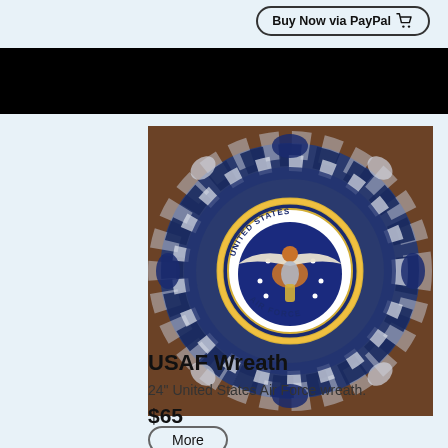Buy Now via PayPal 🛒
[Figure (photo): Photo of a decorative USAF (United States Air Force) wreath made from blue and silver/white mesh ribbons with blue and white chevron ribbon accents, featuring a large Air Force seal emblem in the center, hung on a wooden surface.]
USAF Wreath
24" United States Air Force wreath.
$65
More